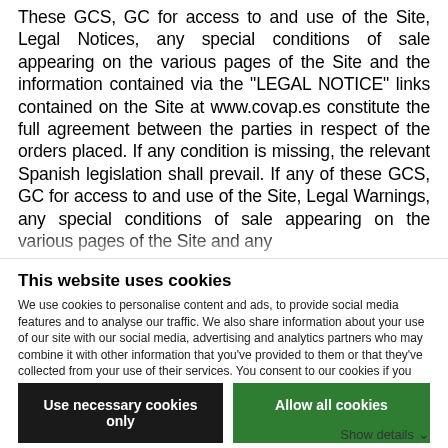These GCS, GC for access to and use of the Site, Legal Notices, any special conditions of sale appearing on the various pages of the Site and the information contained via the "LEGAL NOTICE" links contained on the Site at www.covap.es constitute the full agreement between the parties in respect of the orders placed. If any condition is missing, the relevant Spanish legislation shall prevail. If any of these GCS, GC for access to and use of the Site, Legal Warnings, any special conditions of sale appearing on the various pages of the Site and any
This website uses cookies
We use cookies to personalise content and ads, to provide social media features and to analyse our traffic. We also share information about your use of our site with our social media, advertising and analytics partners who may combine it with other information that you've provided to them or that they've collected from your use of their services. You consent to our cookies if you continue to use our website.
Use necessary cookies only
Allow all cookies
Show details